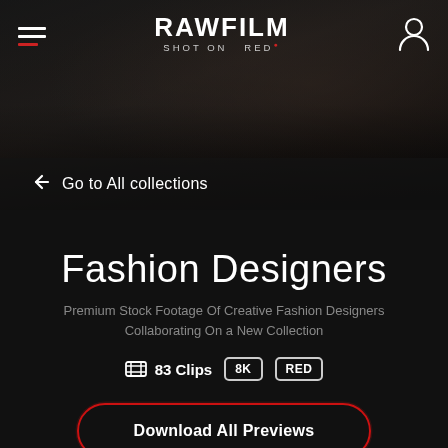[Figure (screenshot): RAWFILM website screenshot showing a dark hero image of people collaborating at a desk, with navigation bar containing hamburger menu, RAWFILM logo with SHOT ON RED tagline, and user profile icon. Below the hero is a back navigation bar reading Go to All collections.]
Fashion Designers
Premium Stock Footage Of Creative Fashion Designers Collaborating On a New Collection
83 Clips   8K   RED
Download All Previews